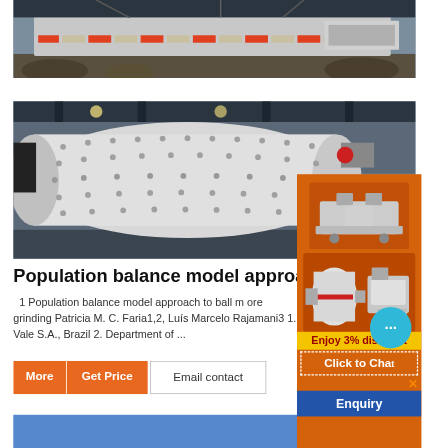[Figure (photo): Mining/crushing machine equipment outdoors, partial view from above showing orange-striped conveyor or crusher unit on rocky ground]
[Figure (photo): Large white ball mill cylinder with bolted plates visible, industrial setting with dark background, machinery equipment]
Population balance model approach to
1 Population balance model approach to ball m ore grinding Patricia M. C. Faria1,2, Luís Marcelo Rajamani3 1. Vale S.A., Brazil 2. Department of ...
[Figure (photo): Advertisement overlay with orange background showing mining/crushing equipment images, chat bubble icon, '3% discount' yellow banner, 'Click to Chat' text with orange X, 'Enquiry' blue button]
More   Get Price
Email contact
Enjoy 3% discount
Click to Chat
Enquiry